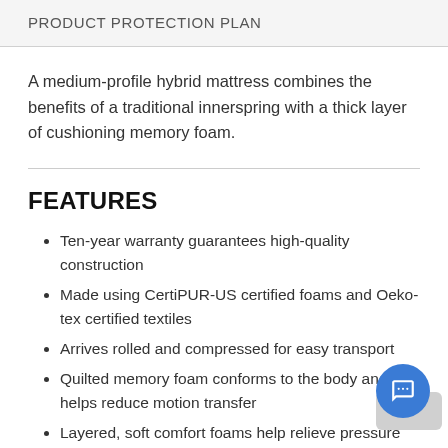PRODUCT PROTECTION PLAN
A medium-profile hybrid mattress combines the benefits of a traditional innerspring with a thick layer of cushioning memory foam.
FEATURES
Ten-year warranty guarantees high-quality construction
Made using CertiPUR-US certified foams and Oeko-tex certified textiles
Arrives rolled and compressed for easy transport
Quilted memory foam conforms to the body and helps reduce motion transfer
Layered, soft comfort foams help relieve pressure points
Thick foam encasement provides edge-to-edge support